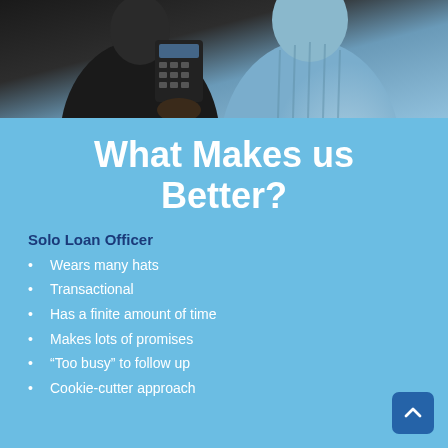[Figure (photo): Two people sitting together, one holding a calculator, appearing to discuss financial matters. One person is in dark clothing, the other in a light blue shirt.]
What Makes us Better?
Solo Loan Officer
Wears many hats
Transactional
Has a finite amount of time
Makes lots of promises
“Too busy” to follow up
Cookie-cutter approach